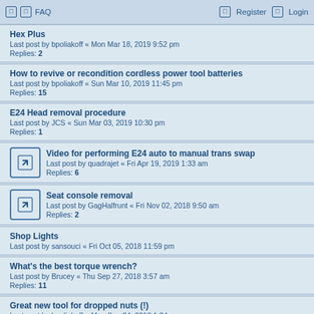FAQ    Register  Login
Hex Plus
Last post by bpoliakoff « Mon Mar 18, 2019 9:52 pm
Replies: 2
How to revive or recondition cordless power tool batteries
Last post by bpoliakoff « Sun Mar 10, 2019 11:45 pm
Replies: 15
E24 Head removal procedure
Last post by JCS « Sun Mar 03, 2019 10:30 pm
Replies: 1
Video for performing E24 auto to manual trans swap
Last post by quadrajet « Fri Apr 19, 2019 1:33 am
Replies: 6
Seat console removal
Last post by GagHalfrunt « Fri Nov 02, 2018 9:50 am
Replies: 2
Shop Lights
Last post by sansouci « Fri Oct 05, 2018 11:59 pm
What's the best torque wrench?
Last post by Brucey « Thu Sep 27, 2018 3:57 am
Replies: 11
Great new tool for dropped nuts (!)
Last post by bpoliakoff « Mon Sep 24, 2018 1:24 am
Replies: 5
Shop lift for home use
Last post by mirdif64 « Fri Sep 14, 2018 11:44 pm